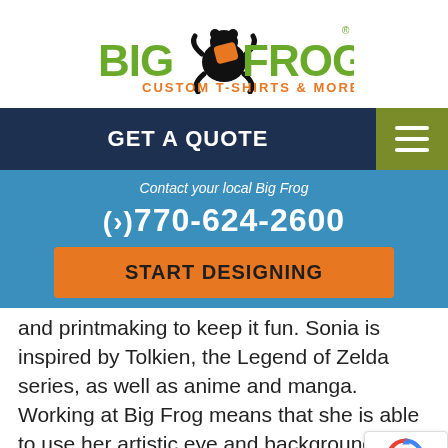[Figure (logo): Big Frog Custom T-Shirts & More logo with frog mascot, green and orange text]
GET A QUOTE
[Figure (other): Hamburger menu icon (three horizontal lines) on olive/green background]
Contact your local Big Frog
(›)770-624-2600
START DESIGNING
and printmaking to keep it fun. Sonia is inspired by Tolkien, the Legend of Zelda series, as well as anime and manga. Working at Big Frog means that she is able to use her artistic eye and background while printing on garments, which in her own